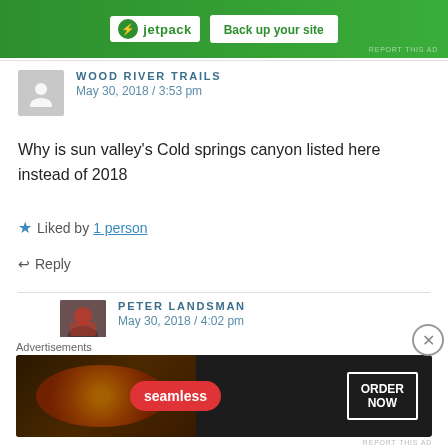[Figure (screenshot): Jetpack advertisement banner at top with green background, logo and 'Back up your site' button]
WOOD RIVER TRAILS
May 30, 2018 / 3:53 pm
Why is sun valley's Cold springs canyon listed here instead of 2018
Liked by 1 person
Reply
PETER LANDSMAN
May 30, 2018 / 4:02 pm
[Figure (screenshot): Seamless pizza advertisement banner at bottom with dark background, red seamless logo, and ORDER NOW button]